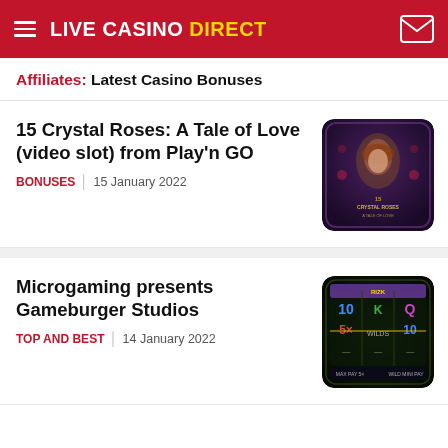LIVE CASINO DIRECT
Affiliates: Latest Casino Bonuses
15 Crystal Roses: A Tale of Love (video slot) from Play'n GO
BONUSES | 15 January 2022
[Figure (photo): 15 Crystal Roses: A Tale of Love game artwork showing a woman with red hair surrounded by roses]
Microgaming presents Gameburger Studios
TOP AND BEST | 14 January 2022
[Figure (photo): Microgaming slot game screenshot showing reels with golden symbols on dark background]